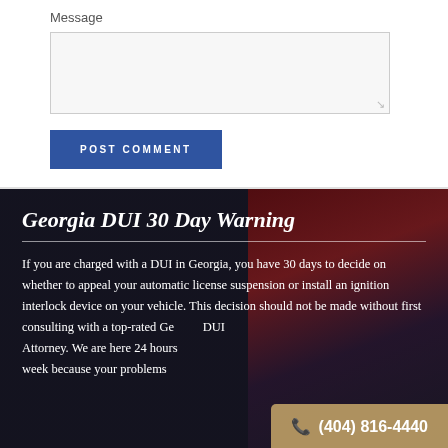Message
[Figure (screenshot): Empty message text area input field with resize handle in bottom right corner]
POST COMMENT
Georgia DUI 30 Day Warning
If you are charged with a DUI in Georgia, you have 30 days to decide on whether to appeal your automatic license suspension or install an ignition interlock device on your vehicle. This decision should not be made without first consulting with a top-rated Georgia DUI Attorney. We are here 24 hours a week because your problems should not have to wait. Most importantly, our Georgia DUI
(404) 816-4440